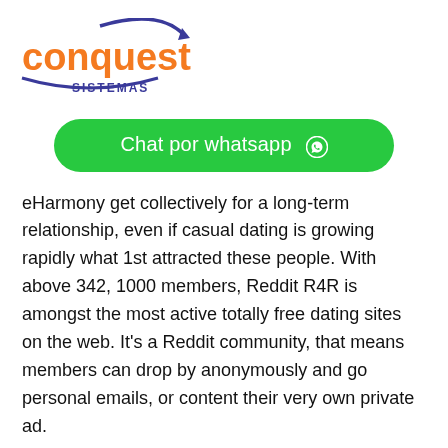[Figure (logo): Conquest Sistemas logo with orange text 'conquest', a blue curved arrow above, and blue text 'SISTEMAS' below]
[Figure (other): Green rounded button with white text 'Chat por whatsapp' and a WhatsApp icon]
eHarmony get collectively for a long-term relationship, even if casual dating is growing rapidly what 1st attracted these people. With above 342, 1000 members, Reddit R4R is amongst the most active totally free dating sites on the web. It's a Reddit community, that means members can drop by anonymously and go personal emails, or content their very own private ad.
Biggest Hookup Websites For Locating Sex Tonight
Hey, it's a better deal than tipping for a tape club, that's for great. Adult Good friend Finder is one of the oldest and quite a few trusted sites for corresponding lovers in concert and for catering